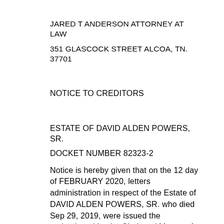JARED T ANDERSON ATTORNEY AT LAW
351 GLASCOCK STREET ALCOA, TN. 37701
NOTICE TO CREDITORS
ESTATE OF DAVID ALDEN POWERS, SR.
DOCKET NUMBER 82323-2
Notice is hereby given that on the 12 day of FEBRUARY 2020, letters administration in respect of the Estate of DAVID ALDEN POWERS, SR. who died Sep 29, 2019, were issued the undersigned by the Clerk and Master of the Chancery Court of Knox County, Tennessee. All persons resident and non-resident, having